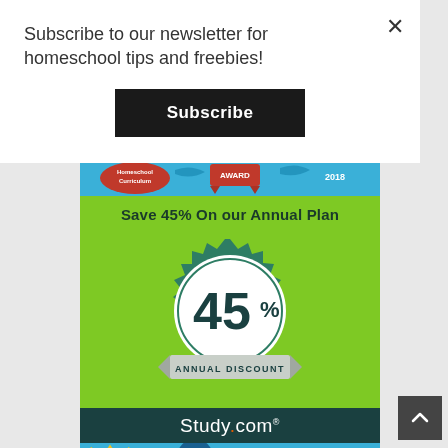Subscribe to our newsletter for homeschool tips and freebies!
[Figure (other): Black Subscribe button]
[Figure (illustration): Study.com advertisement banner showing 'Save 45% On our Annual Plan' with a green background, a circular badge reading '45% ANNUAL DISCOUNT', and Study.com logo on dark teal background. Top blue strip shows award/homeschool curriculum icons. Bottom strip partially visible with math practice text.]